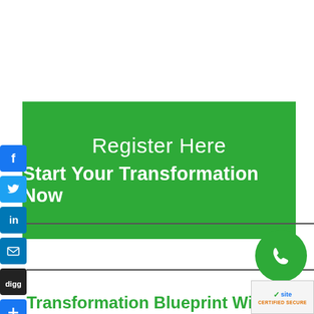[Figure (infographic): Green call-to-action button with text 'Register Here' and 'Start Your Transformation Now']
[Figure (infographic): Social media share icons column: Facebook, Twitter, LinkedIn, Email, Digg, Plus]
[Figure (infographic): Green phone circle icon and website secure certified badge]
Transformation Blueprint Will